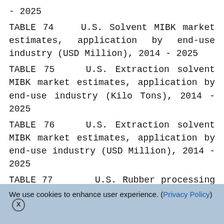- 2025
TABLE 74    U.S. Solvent MIBK market estimates, application by end-use industry (USD Million), 2014 - 2025
TABLE 75    U.S. Extraction solvent MIBK market estimates, application by end-use industry (Kilo Tons), 2014 - 2025
TABLE 76    U.S. Extraction solvent MIBK market estimates, application by end-use industry (USD Million), 2014 - 2025
TABLE 77       U.S. Rubber processing chemical MIBK market estimates, application by end-use industry (Kilo Tons), 2014 - 2025
We use cookies to enhance user experience. (Privacy Policy) X